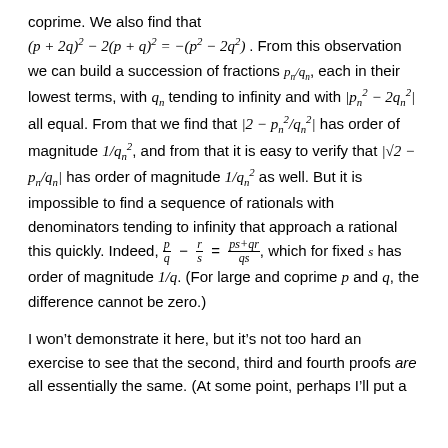coprime. We also find that (p + 2q)^2 - 2(p+q)^2 = -(p^2 - 2q^2). From this observation we can build a succession of fractions p_n/q_n, each in their lowest terms, with q_n tending to infinity and with |p_n^2 - 2q_n^2| all equal. From that we find that |2 - p_n^2/q_n^2| has order of magnitude 1/q_n^2, and from that it is easy to verify that |sqrt(2) - p_n/q_n| has order of magnitude 1/q_n^2 as well. But it is impossible to find a sequence of rationals with denominators tending to infinity that approach a rational this quickly. Indeed, p/q - r/s = (ps+qr)/(qs), which for fixed s has order of magnitude 1/q. (For large and coprime p and q, the difference cannot be zero.)
I won't demonstrate it here, but it's not too hard an exercise to see that the second, third and fourth proofs are all essentially the same. (At some point, perhaps I'll put a